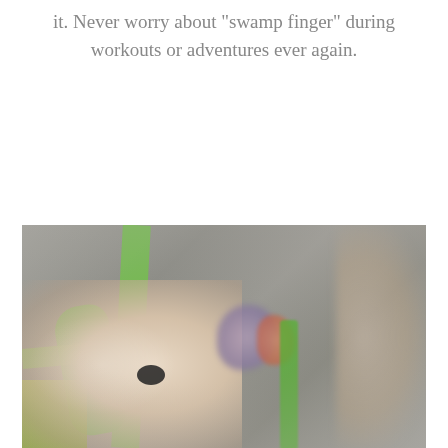it. Never worry about "swamp finger" during workouts or adventures ever again.
[Figure (photo): Close-up photo of a person's hand gripping a green climbing hold on a rock climbing wall. The hand wears a black ring. Green straps/holds are visible, along with blurred purple and orange holds in the background. A second person's arm is partially visible on the right side.]